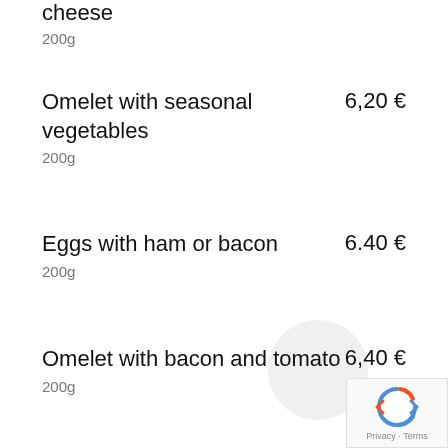cheese
200g
Omelet with seasonal vegetables  6,20 €
200g
Eggs with ham or bacon  6.40 €
200g
Omelet with bacon and tomato  6,40 €
200g